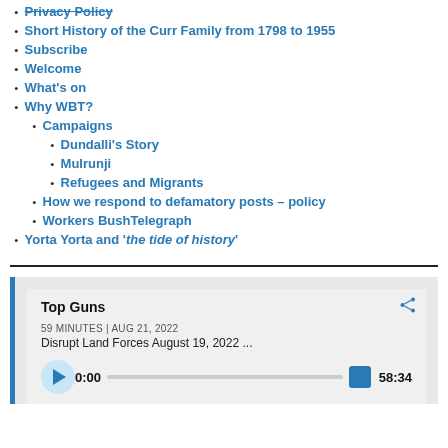Privacy Policy
Short History of the Curr Family from 1798 to 1955
Subscribe
Welcome
What's on
Why WBT?
Campaigns
Dundalli's Story
Mulrunji
Refugees and Migrants
How we respond to defamatory posts – policy
Workers BushTelegraph
Yorta Yorta and 'the tide of history'
[Figure (screenshot): Audio player widget showing 'Top Guns' episode, 59 MINUTES | AUG 21, 2022, description: Disrupt Land Forces August 19, 2022 ..., playback at 0:00 of 58:34]